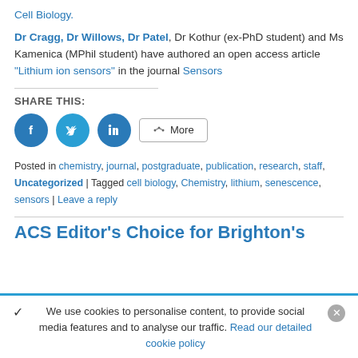Cell Biology.
Dr Cragg, Dr Willows, Dr Patel, Dr Kothur (ex-PhD student) and Ms Kamenica (MPhil student) have authored an open access article "Lithium ion sensors" in the journal Sensors
SHARE THIS:
[Figure (infographic): Social share buttons: Facebook (blue circle), Twitter (blue circle), LinkedIn (blue circle), More (bordered button)]
Posted in chemistry, journal, postgraduate, publication, research, staff, Uncategorized | Tagged cell biology, Chemistry, lithium, senescence, sensors | Leave a reply
ACS Editor's Choice for Brighton's
We use cookies to personalise content, to provide social media features and to analyse our traffic. Read our detailed cookie policy